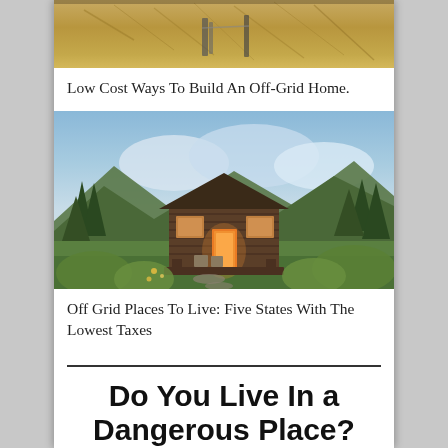[Figure (photo): Partial top of an image showing sandy/straw colored ground with some tools or stakes, cropped at top]
Low Cost Ways To Build An Off-Grid Home.
[Figure (photo): A rustic log cabin in a mountain forest setting with glowing orange door light, evergreen trees, mountains with clouds in background, green foliage surrounding the cabin]
Off Grid Places To Live: Five States With The Lowest Taxes
Do You Live In a Dangerous Place?